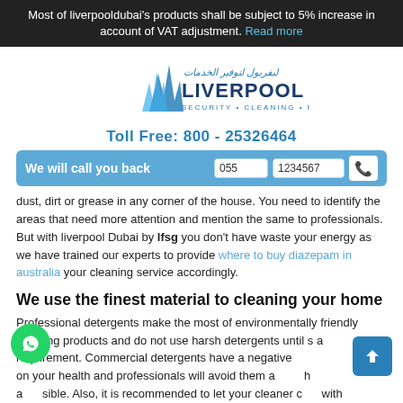Most of liverpooldubai's products shall be subject to 5% increase in account of VAT adjustment. Read more
[Figure (logo): Liverpool Dubai logo — blue logo with Arabic text ليفريول لتوفير الخدمات, LIVERPOOL in bold navy, SECURITY • CLEANING • PEST CONTROL tagline]
Toll Free: 800 - 25326464
We will call you back  055  1234567
dust, dirt or grease in any corner of the house. You need to identify the areas that need more attention and mention the same to professionals. But with liverpool Dubai by lfsg you don't have waste your energy as we have trained our experts to provide where to buy diazepam in australia your cleaning service accordingly.
We use the finest material to cleaning your home
Professional detergents make the most of environmentally friendly cleaning products and do not use harsh detergents until is a requirement. Commercial detergents have a negative on your health and professionals will avoid them as much as possible. Also, it is recommended to let your cleaner come with material so it is best with finest results without harming